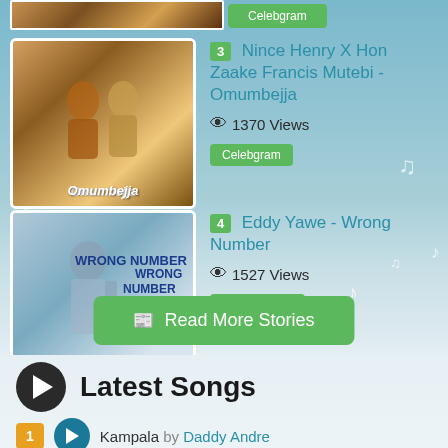[Figure (photo): Cropped album art at top of page, partially visible]
3 Nince Henry X Hon Zaake Francis Mutebi - Omumbejja
1370 Views
Celebgram
4 Eddy Yawe - Wrong Number
1527 Views
Song Review
Read More Stories
Latest Songs
1 Kampala by Daddy Andre